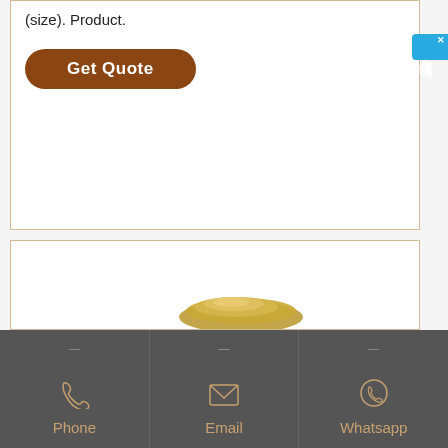(size). Product.
Get Quote
[Figure (screenshot): Chinese online chat widget button with blue background, showing 在线咨询 (online consultation) text and close X button]
[Figure (photo): Product image showing a golden/brown stone or rock material at the bottom of a white content box]
Phone
Email
Whatsapp